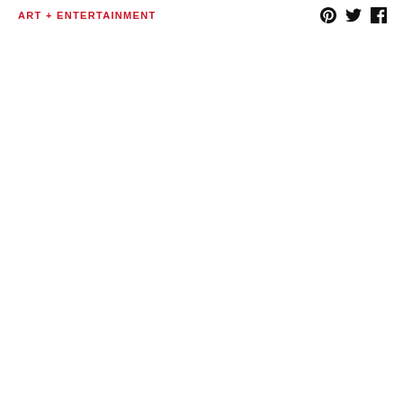ART + ENTERTAINMENT
[Figure (logo): Social media icons: Pinterest, Twitter, Facebook]